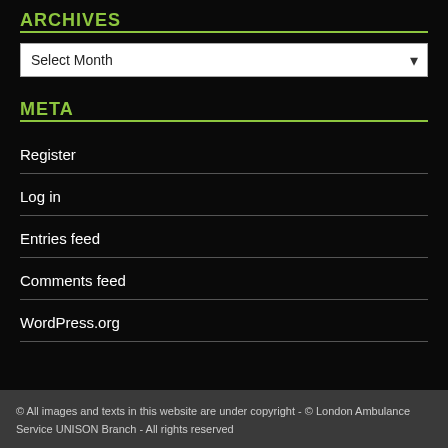ARCHIVES
[Figure (screenshot): Select Month dropdown box]
META
Register
Log in
Entries feed
Comments feed
WordPress.org
© All images and texts in this website are under copyright - © London Ambulance Service UNISON Branch - All rights reserved